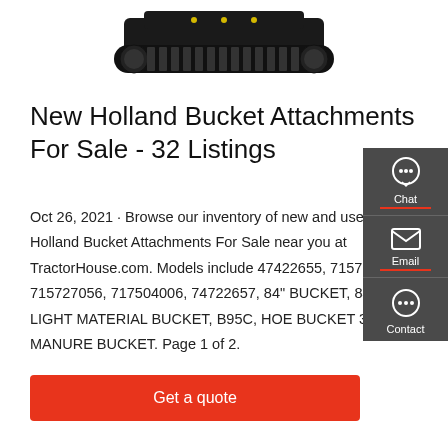[Figure (photo): A black tracked machine/undercarriage (rubber track assembly) photographed from above on a white background]
New Holland Bucket Attachments For Sale - 32 Listings
Oct 26, 2021 · Browse our inventory of new and used New Holland Bucket Attachments For Sale near you at TractorHouse.com. Models include 47422655, 715719076, 715727056, 717504006, 74722657, 84" BUCKET, 84" LIGHT MATERIAL BUCKET, B95C, HOE BUCKET 36", and MANURE BUCKET. Page 1 of 2.
[Figure (other): Side panel with Chat, Email, and Contact buttons on dark grey background]